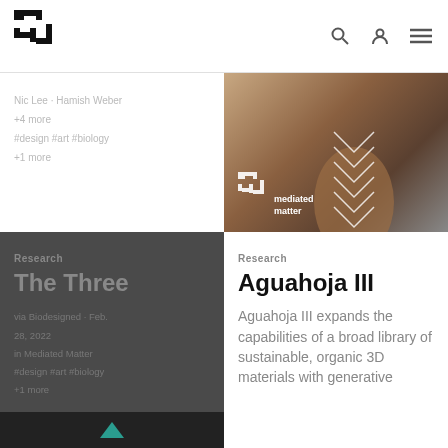Nic Lee · Hamish Weber
+4 more
#design #art #biology
+1 more
[Figure (photo): Photo of a tall sculptural vase with leaf-like pattern in wood tones, displayed in a gallery space. Overlay shows the Mediated Matter logo and text 'mediated matter'.]
Research
The Three
via Biodesigned · Feb. 28, 2022
in Mediated Matter
#design #art #biology
+1 more
Research
Aguahoja III
Aguahoja III expands the capabilities of a broad library of sustainable, organic 3D materials with generative